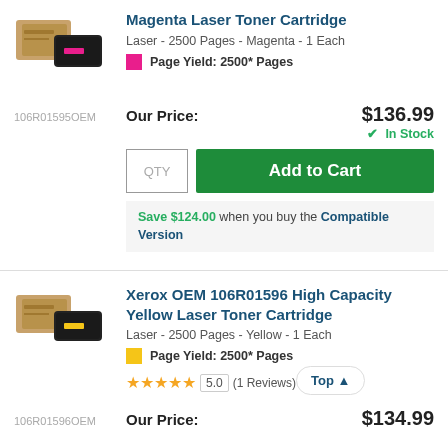Magenta Laser Toner Cartridge
Laser - 2500 Pages - Magenta - 1 Each
Page Yield: 2500* Pages
106R01595OEM
Our Price: $136.99
✓ In Stock
Add to Cart
Save $124.00 when you buy the Compatible Version
Xerox OEM 106R01596 High Capacity Yellow Laser Toner Cartridge
Laser - 2500 Pages - Yellow - 1 Each
Page Yield: 2500* Pages
5.0 (1 Reviews)
106R01596OEM
Our Price: $134.99